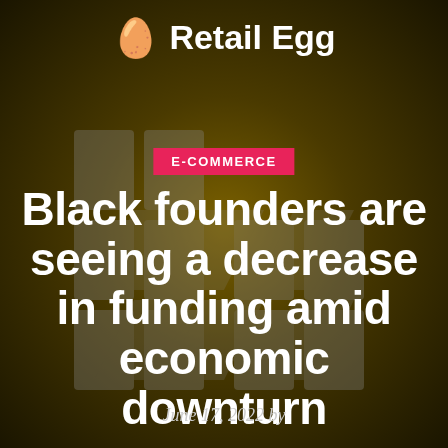Retail Egg
E-COMMERCE
Black founders are seeing a decrease in funding amid economic downturn
June 17, 2022 by